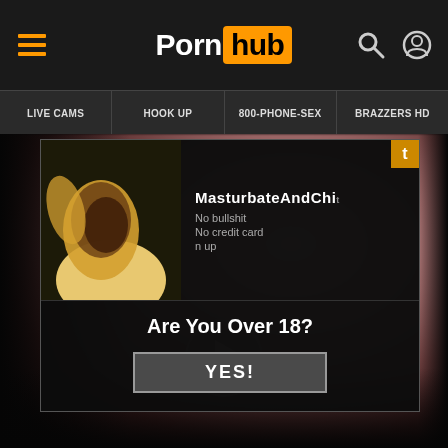Pornhub — LIVE CAMS | HOOK UP | 800-PHONE-SEX | BRAZZERS HD
[Figure (screenshot): Pornhub website screenshot with age verification popup overlay 'Are You Over 18? YES!' and a blurred video thumbnail in the background with a play button.]